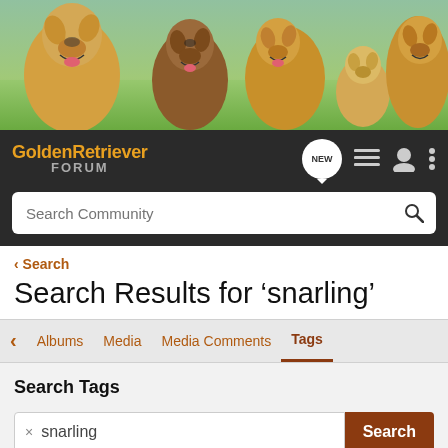[Figure (photo): Banner photo of multiple golden retriever dogs outdoors on green grass]
[Figure (logo): GoldenRetriever FORUM logo and navigation bar with NEW, list, user and more icons, plus Search Community search bar]
< Search
Search Results for ‘snarling’
Albums   Media   Media Comments   Tags
Search Tags
× snarling   Search